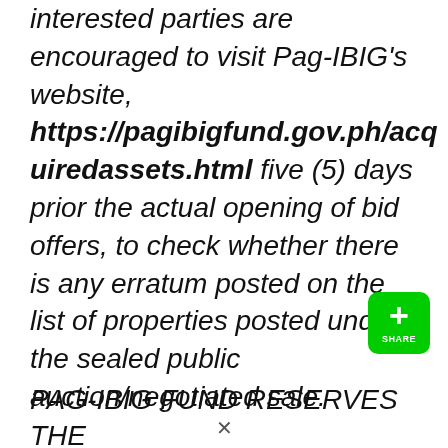interested parties are encouraged to visit Pag-IBIG's website, https://pagibigfund.gov.ph/acquiredassets.html five (5) days prior the actual opening of bid offers, to check whether there is any erratum posted on the list of properties posted under the sealed public auction/negotiated sale.
[Figure (other): Green share button with a plus sign and the word SHARE]
PAG-IBIG FUND RESERVES THE